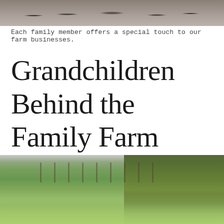[Figure (photo): Top portion of a photo showing people's feet/legs on a gravel or dirt surface, partially cropped]
Each family member offers a special touch to our farm businesses.
Grandchildren Behind the Family Farm
[Figure (photo): Outdoor farm scene with a green grassy field, wooden fence in the background, and trees in the distance]